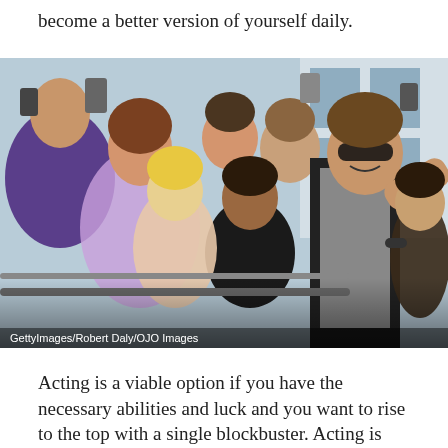become a better version of yourself daily.
[Figure (photo): A young man wearing sunglasses and a grey vest takes a selfie with a crowd of enthusiastic fans at what appears to be a public event or premiere. Fans are holding phones and cameras, smiling and cheering. A metal barrier separates the celebrity from the crowd.]
GettyImages/Robert Daly/OJO Images
Acting is a viable option if you have the necessary abilities and luck and you want to rise to the top with a single blockbuster. Acting is